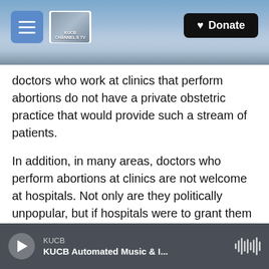[Figure (screenshot): Website header with mountain/sky background, hamburger menu button, KUCB Channel 8 TV logo, and black Donate button with heart icon]
doctors who work at clinics that perform abortions do not have a private obstetric practice that would provide such a stream of patients.
In addition, in many areas, doctors who perform abortions at clinics are not welcome at hospitals. Not only are they politically unpopular, but if hospitals were to grant them admitting privileges, they likely would have to beef up security.
Roberts' opinion is likely to stall attempts at overruling the Supreme Court's landmark 1973 abortion decision, Roe v. Wade, and subsequent
KUCB  KUCB Automated Music & I...